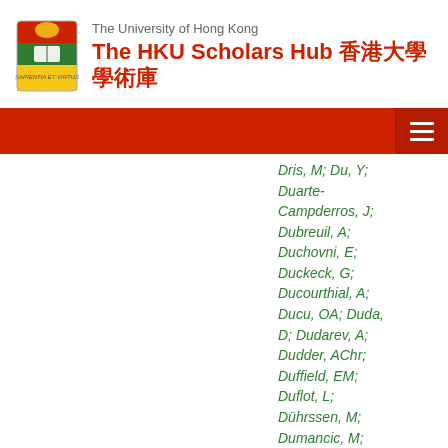The University of Hong Kong
The HKU Scholars Hub 香港大學學術庫
Dris, M; Du, Y; Duarte-Campderros, J; Dubreuil, A; Duchovni, E; Duckeck, G; Ducourthial, A; Ducu, OA; Duda, D; Dudarev, A; Dudder, AChr; Duffield, EM; Duflot, L; Dührssen, M; Dumancic, M; Dumitriu, AE; Duncan, AK; Dunford, M;